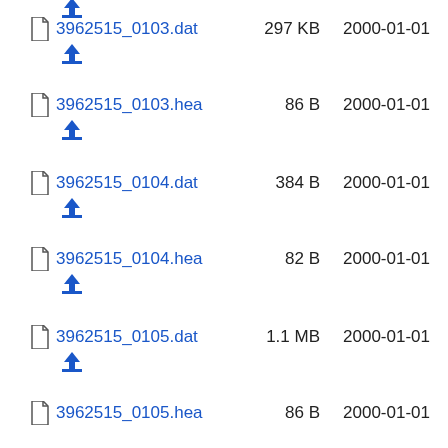3962515_0103.dat  297 KB  2000-01-01
3962515_0103.hea  86 B  2000-01-01
3962515_0104.dat  384 B  2000-01-01
3962515_0104.hea  82 B  2000-01-01
3962515_0105.dat  1.1 MB  2000-01-01
3962515_0105.hea  86 B  2000-01-01
3962515_0106.dat  2.9 MB  2000-01-01
3962515_0106.hea  89 B  2000-01-01